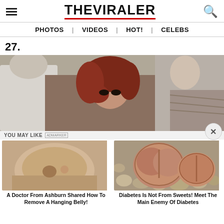THE VIRALER
PHOTOS | VIDEOS | HOT! | CELEBS
27.
[Figure (photo): Photo of a woman with red hair in a crowd, seen from the side, with other people around her.]
YOU MAY LIKE
[Figure (photo): Close-up photo of a person's midsection/belly area.]
A Doctor From Ashburn Shared How To Remove A Hanging Belly!
[Figure (photo): Photo of succulent plants (Lithops) resembling brain-like stones among pebbles.]
Diabetes Is Not From Sweets! Meet The Main Enemy Of Diabetes